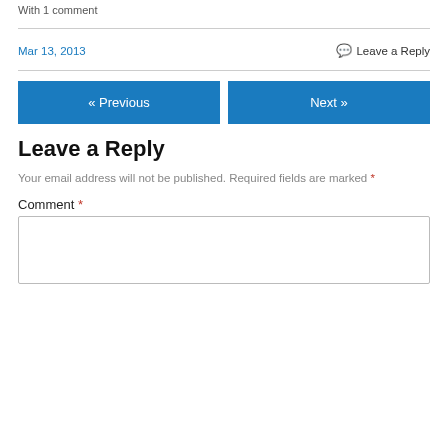With 1 comment
Mar 13, 2013    Leave a Reply
« Previous    Next »
Leave a Reply
Your email address will not be published. Required fields are marked *
Comment *
[Figure (other): Empty comment text area input box]